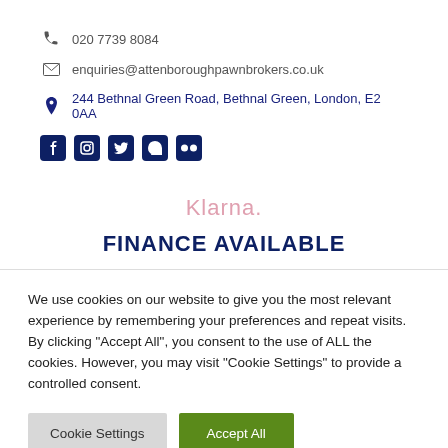020 7739 8084
enquiries@attenboroughpawnbrokers.co.uk
244 Bethnal Green Road, Bethnal Green, London, E2 0AA
[Figure (other): Social media icons: Facebook, Instagram, Twitter, Pinterest, Flickr]
[Figure (logo): Klarna logo text in pink/rose color]
FINANCE AVAILABLE
We use cookies on our website to give you the most relevant experience by remembering your preferences and repeat visits. By clicking "Accept All", you consent to the use of ALL the cookies. However, you may visit "Cookie Settings" to provide a controlled consent.
Cookie Settings | Accept All